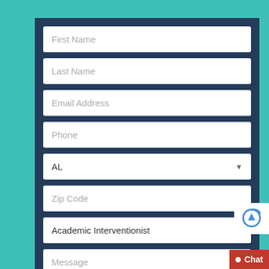[Figure (screenshot): A web contact form with fields for First Name, Last Name, Email Address, Phone, state dropdown (AL), Zip Code, role dropdown (Academic Interventionist), and Message. The form sits on a teal background with a dark navy form container. A red chat badge and reCAPTCHA icon appear in the bottom right corner.]